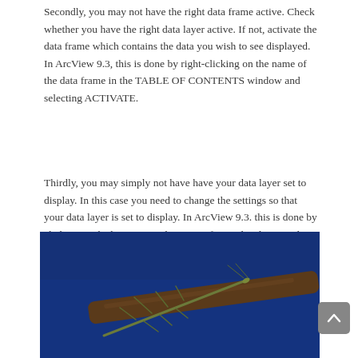Secondly, you may not have the right data frame active. Check whether you have the right data layer active. If not, activate the data frame which contains the data you wish to see displayed. In ArcView 9.3, this is done by right-clicking on the name of the data frame in the TABLE OF CONTENTS window and selecting ACTIVATE.
Thirdly, you may simply not have have your data layer set to display. In this case you need to change the settings so that your data layer is set to display. In ArcView 9.3. this is done by clicking on the box next to the name of your data layer in the TABLE OF CONTENTS window so that there is a tick beside it.
[Figure (photo): A photo of a stick insect (walking stick) on a branch against a dark blue background.]